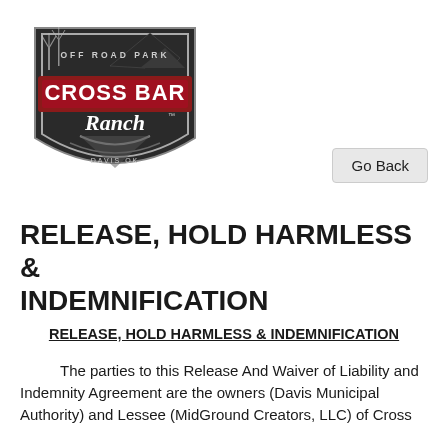[Figure (logo): Cross Bar Ranch Off Road Park logo — shield shape with dark background, red banner with 'CROSS BAR' text, script 'Ranch' text, wind turbines silhouette, 'DAVIS OK' text at bottom]
Go Back
RELEASE, HOLD HARMLESS & INDEMNIFICATION
RELEASE, HOLD HARMLESS & INDEMNIFICATION
The parties to this Release And Waiver of Liability and Indemnity Agreement are the owners (Davis Municipal Authority) and Lessee (MidGround Creators, LLC) of Cross